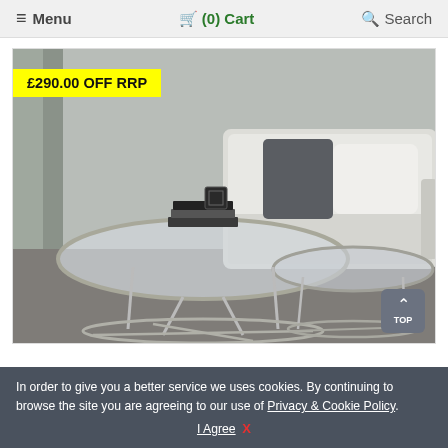≡ Menu   🛒 (0) Cart   🔍 Search
[Figure (photo): Product photo of a set of three round glass and chrome nesting coffee tables in a modern living room setting, with a white sofa and grey cushions in the background. A yellow badge reads '£290.00 OFF RRP'.]
£290.00 OFF RRP
In order to give you a better service we uses cookies. By continuing to browse the site you are agreeing to our use of Privacy & Cookie Policy. I Agree  X